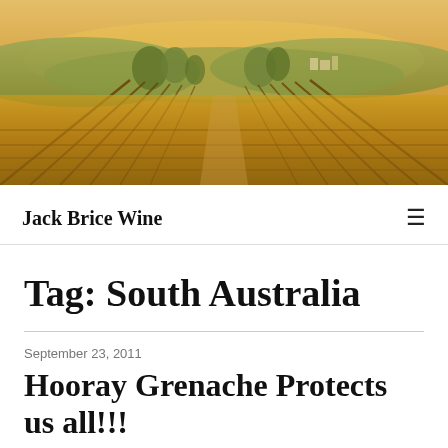[Figure (photo): Aerial view of vineyard rows at golden hour sunset, with warm orange and yellow tones, rolling hills and a village in the background]
Jack Brice Wine
Tag: South Australia
September 23, 2011
Hooray Grenache Protects us all!!!